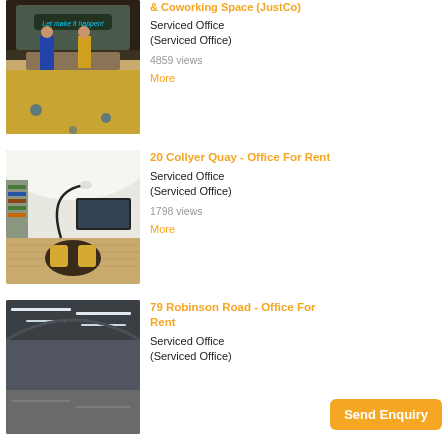[Figure (photo): Interior of a serviced office/coworking space with neon sign reading 'Let make it happen', two people standing at counter, wooden floor]
& Coworking Space (JustCo)
Serviced Office (Serviced Office)
4859 views
More
[Figure (photo): Interior of 20 Collyer Quay office with white curved ceiling, bookshelves, round dark table and yellow chairs on wooden floor]
20 Collyer Quay - Office For Rent
Serviced Office (Serviced Office)
1798 views
More
[Figure (photo): Interior of 79 Robinson Road office space with modern lighting strips on ceiling]
79 Robinson Road - Office For Rent
Serviced Office (Serviced Office)
Send Enquiry